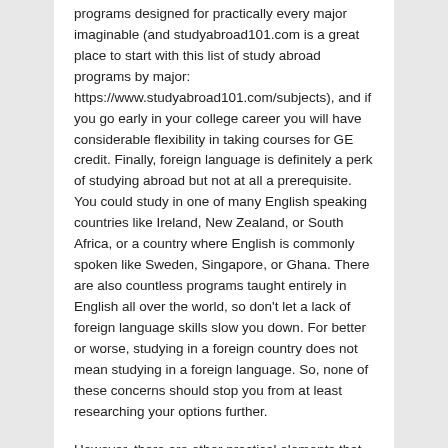programs designed for practically every major imaginable (and studyabroad101.com is a great place to start with this list of study abroad programs by major: https://www.studyabroad101.com/subjects), and if you go early in your college career you will have considerable flexibility in taking courses for GE credit. Finally, foreign language is definitely a perk of studying abroad but not at all a prerequisite. You could study in one of many English speaking countries like Ireland, New Zealand, or South Africa, or a country where English is commonly spoken like Sweden, Singapore, or Ghana. There are also countless programs taught entirely in English all over the world, so don't let a lack of foreign language skills slow you down. For better or worse, studying in a foreign country does not mean studying in a foreign language. So, none of these concerns should stop you from at least researching your options further.
However, there are other practical elements that should give you pause. If you do all the math, apply for scholarships, and realize that in the end you'll go deeper